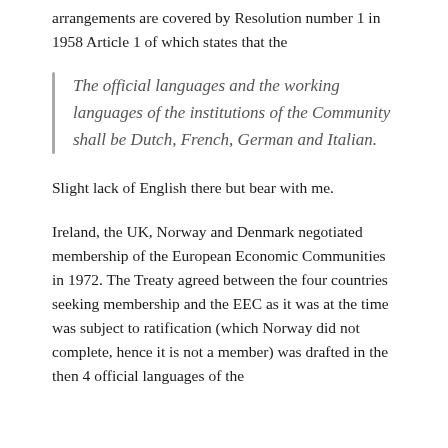arrangements are covered by Resolution number 1 in 1958 Article 1 of which states that the
The official languages and the working languages of the institutions of the Community shall be Dutch, French, German and Italian.
Slight lack of English there but bear with me.
Ireland, the UK, Norway and Denmark negotiated membership of the European Economic Communities in 1972. The Treaty agreed between the four countries seeking membership and the EEC as it was at the time was subject to ratification (which Norway did not complete, hence it is not a member) was drafted in the then 4 official languages of the